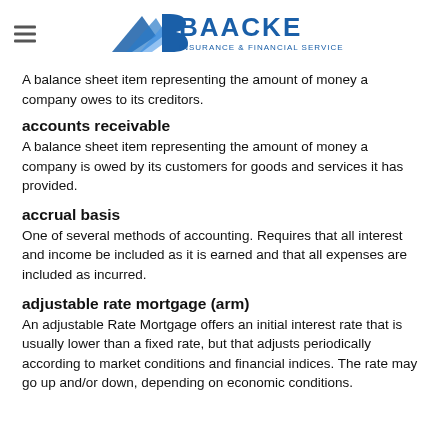BAACKE INSURANCE & FINANCIAL SERVICES
A balance sheet item representing the amount of money a company owes to its creditors.
accounts receivable
A balance sheet item representing the amount of money a company is owed by its customers for goods and services it has provided.
accrual basis
One of several methods of accounting. Requires that all interest and income be included as it is earned and that all expenses are included as incurred.
adjustable rate mortgage (arm)
An adjustable Rate Mortgage offers an initial interest rate that is usually lower than a fixed rate, but that adjusts periodically according to market conditions and financial indices. The rate may go up and/or down, depending on economic conditions.